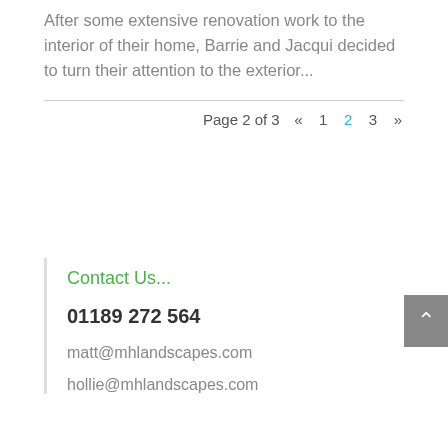After some extensive renovation work to the interior of their home, Barrie and Jacqui decided to turn their attention to the exterior...
Page 2 of 3  «  1  2  3  »
Contact Us...
01189 272 564
matt@mhlandscapes.com
hollie@mhlandscapes.com